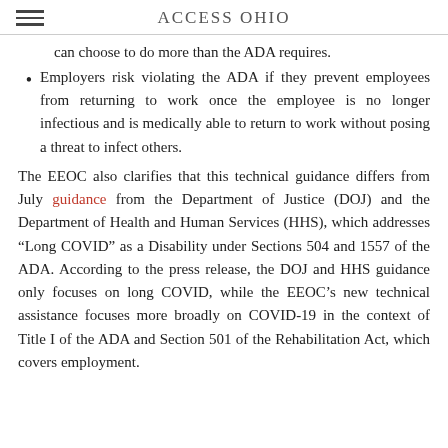ACCESS OHIO
can choose to do more than the ADA requires.
Employers risk violating the ADA if they prevent employees from returning to work once the employee is no longer infectious and is medically able to return to work without posing a threat to infect others.
The EEOC also clarifies that this technical guidance differs from July guidance from the Department of Justice (DOJ) and the Department of Health and Human Services (HHS), which addresses “Long COVID” as a Disability under Sections 504 and 1557 of the ADA. According to the press release, the DOJ and HHS guidance only focuses on long COVID, while the EEOC’s new technical assistance focuses more broadly on COVID-19 in the context of Title I of the ADA and Section 501 of the Rehabilitation Act, which covers employment.